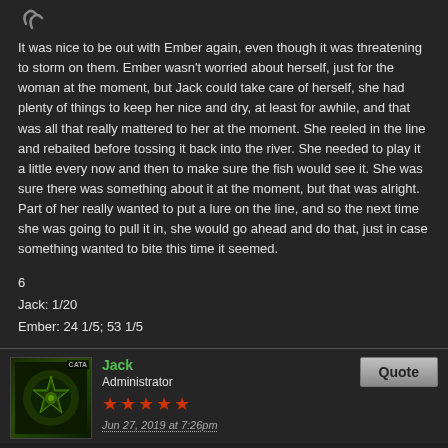[Figure (logo): Small decorative icon/logo in top left corner]
It was nice to be out with Ember again, even though it was threatening to storm on them. Ember wasn't worried about herself, just for the woman at the moment, but Jack could take care of herself, she had plenty of things to keep her nice and dry, at least for awhile, and that was all that really mattered to her at the moment. She reeled in the line and rebaited before tossing it back into the river. She needed to play it a little every now and then to make sure the fish would see it. She was sure there was something about it at the moment, but that was alright. Part of her really wanted to put a lure on the line, and so the next time she was going to pull it in, she would go ahead and do that, just in case something wanted to bite this time it seemed.
6
Jack: 1/20
Ember: 24 1/5; 53 1/5
[Figure (photo): User avatar image with green/dark tones and CATA badge, showing a decorative emblem]
Jack
Administrator
★★★★★
Jun 27, 2019 at 7:26pm
Quote
Time went on, however, and nothing was biting, even though it was the wet season and a storm was coming. It was the perfect circumstances,